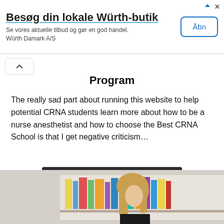[Figure (other): Advertisement banner for Würth store: 'Besøg din lokale Würth-butik' with subtext 'Se vores aktuelle tilbud og gør en god handel. Würth Damark A/S' and a blue-bordered 'Åbn' button]
Program
The really sad part about running this website to help potential CRNA students learn more about how to be a nurse anesthetist and how to choose the Best CRNA School is that I get negative criticism…
CONTINUE READING
[Figure (photo): Woman with blonde hair looking downward, bookshelf with colorful books in background]